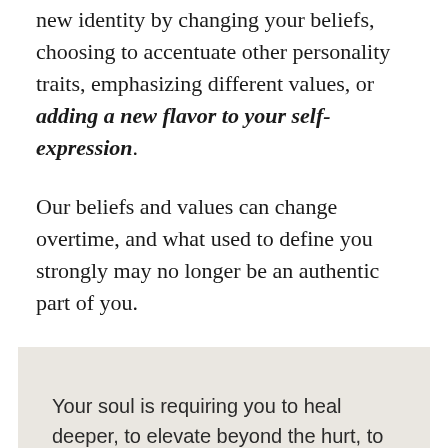new identity by changing your beliefs, choosing to accentuate other personality traits, emphasizing different values, or adding a new flavor to your self-expression.
Our beliefs and values can change overtime, and what used to define you strongly may no longer be an authentic part of you.
Your soul is requiring you to heal deeper, to elevate beyond the hurt, to transcend beyond what happened, to let go of who and what no longer serves you, to protect your energy daily, to receive the lessons, to master your thoughts and emotions, to forgive